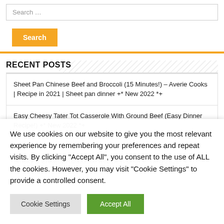Search …
Search
RECENT POSTS
Sheet Pan Chinese Beef and Broccoli (15 Minutes!) – Averie Cooks | Recipe in 2021 | Sheet pan dinner +* New 2022 *+
Easy Cheesy Tater Tot Casserole With Ground Beef (Easy Dinner Recipe!) +* New 2022 *+
Smoky & Creamy Ratatouille Recipe (video) +* New 2022 *+
We use cookies on our website to give you the most relevant experience by remembering your preferences and repeat visits. By clicking "Accept All", you consent to the use of ALL the cookies. However, you may visit "Cookie Settings" to provide a controlled consent.
Cookie Settings
Accept All